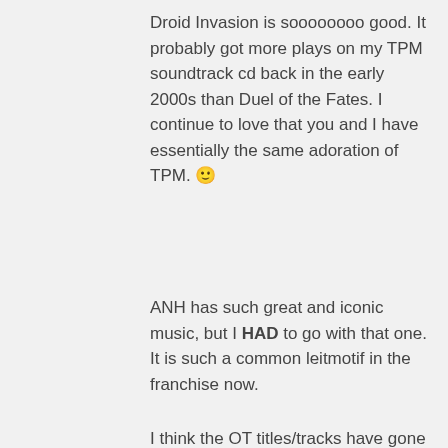Droid Invasion is soooooooo good. It probably got more plays on my TPM soundtrack cd back in the early 2000s than Duel of the Fates. I continue to love that you and I have essentially the same adoration of TPM. 🙂
ANH has such great and iconic music, but I HAD to go with that one. It is such a common leitmotif in the franchise now.
I think the OT titles/tracks have gone through a series of name changes. Hardly a surprise, especially with the change of mediums over the years.
★ Like
REPLY
starwarsanon